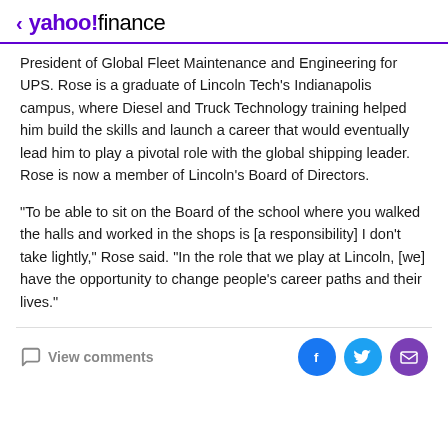< yahoo!finance
President of Global Fleet Maintenance and Engineering for UPS. Rose is a graduate of Lincoln Tech's Indianapolis campus, where Diesel and Truck Technology training helped him build the skills and launch a career that would eventually lead him to play a pivotal role with the global shipping leader. Rose is now a member of Lincoln's Board of Directors.
“To be able to sit on the Board of the school where you walked the halls and worked in the shops is [a responsibility] I don’t take lightly,” Rose said. “In the role that we play at Lincoln, [we] have the opportunity to change people’s career paths and their lives.”
View comments